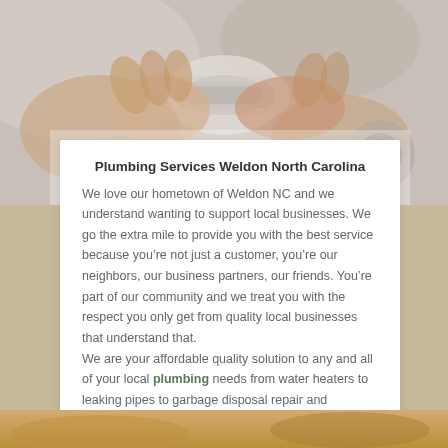[Figure (photo): Close-up photo of hands working on plumbing fittings/pipe connectors]
Plumbing Services Weldon North Carolina
We love our hometown of Weldon NC and we understand wanting to support local businesses. We go the extra mile to provide you with the best service because you’re not just a customer, you’re our neighbors, our business partners, our friends. You’re part of our community and we treat you with the respect you only get from quality local businesses that understand that.
We are your affordable quality solution to any and all of your local plumbing needs from water heaters to leaking pipes to garbage disposal repair and replacement!
[Figure (photo): Partial photo visible at the bottom of the page, warm brown/orange tones]